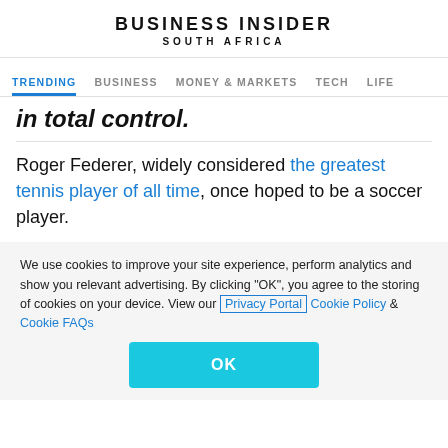BUSINESS INSIDER SOUTH AFRICA
TRENDING  BUSINESS  MONEY & MARKETS  TECH  LIFE
in total control.
Roger Federer, widely considered the greatest tennis player of all time, once hoped to be a soccer player.
We use cookies to improve your site experience, perform analytics and show you relevant advertising. By clicking "OK", you agree to the storing of cookies on your device. View our Privacy Portal Cookie Policy & Cookie FAQs